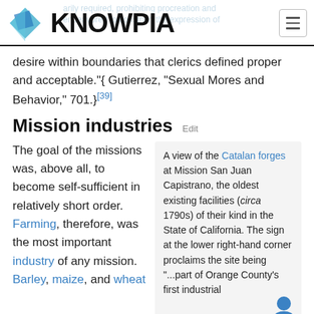KNOWPIA
desire within boundaries that clerics defined proper and acceptable."{ Gutierrez, "Sexual Mores and Behavior," 701.}[39]
Mission industries  Edit
The goal of the missions was, above all, to become self-sufficient in relatively short order. Farming, therefore, was the most important industry of any mission. Barley, maize, and wheat
A view of the Catalan forges at Mission San Juan Capistrano, the oldest existing facilities (circa 1790s) of their kind in the State of California. The sign at the lower right-hand corner proclaims the site being "...part of Orange County's first industrial